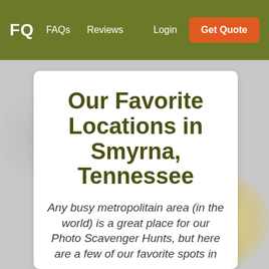FQ  FAQs  Reviews  Login  Get Quote
Our Favorite Locations in Smyrna, Tennessee
Any busy metropolitain area (in the world) is a great place for our Photo Scavenger Hunts, but here are a few of our favorite spots in